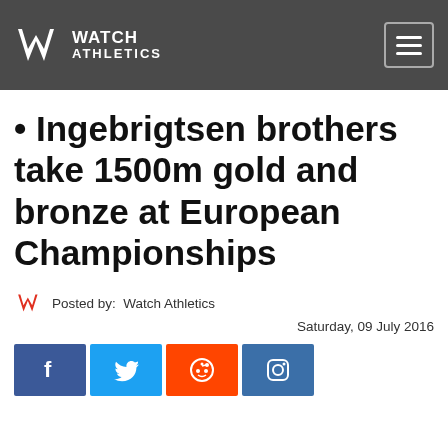Watch Athletics
• Ingebrigtsen brothers take 1500m gold and bronze at European Championships
Posted by: Watch Athletics
Saturday, 09 July 2016
[Figure (other): Social media share buttons: Facebook, Twitter, Reddit, Instagram]